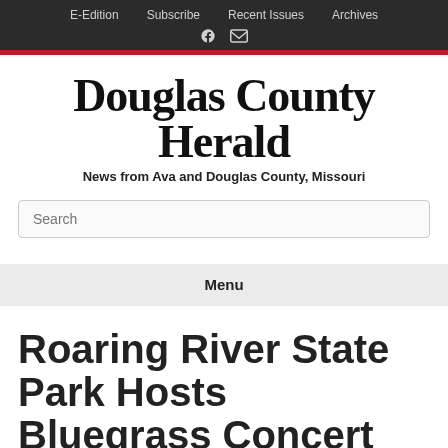E-Edition  Subscribe  Recent Issues  Archives
Douglas County Herald
News from Ava and Douglas County, Missouri
Search
Menu
Roaring River State Park Hosts Bluegrass Concert